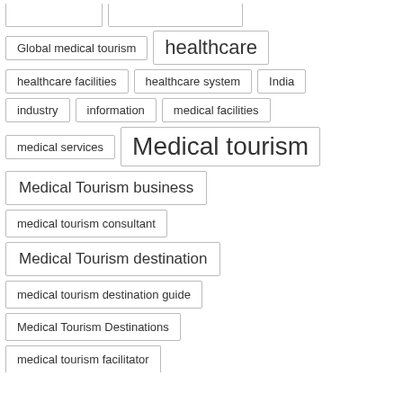Global medical tourism
healthcare
healthcare facilities
healthcare system
India
industry
information
medical facilities
medical services
Medical tourism
Medical Tourism business
medical tourism consultant
Medical Tourism destination
medical tourism destination guide
Medical Tourism Destinations
medical tourism facilitator